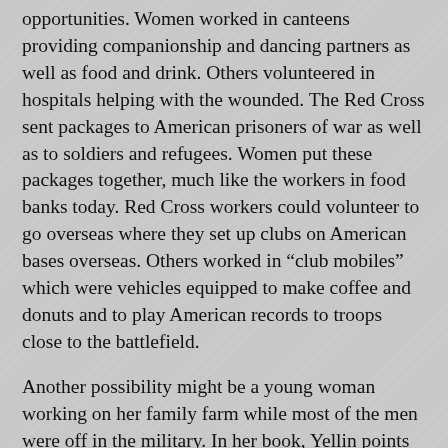opportunities. Women worked in canteens providing companionship and dancing partners as well as food and drink. Others volunteered in hospitals helping with the wounded. The Red Cross sent packages to American prisoners of war as well as to soldiers and refugees. Women put these packages together, much like the workers in food banks today. Red Cross workers could volunteer to go overseas where they set up clubs on American bases overseas. Others worked in “club mobiles” which were vehicles equipped to make coffee and donuts and to play American records to troops close to the battlefield.
Another possibility might be a young woman working on her family farm while most of the men were off in the military. In her book, Yellin points out that the United States had their own Women’s Land Army. We’ve heard of the English version, but I didn’t know about the American one until I read Yellin’s book.